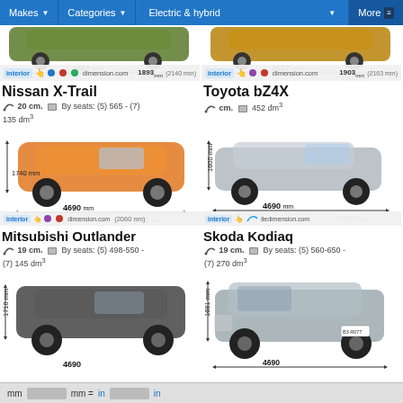Makes | Categories | Electric & hybrid | More
[Figure (photo): Partial view of two SUVs at top. Left car (green SUV): 4682 mm length, 1893 mm width (2140 mm). Right car (gold SUV): 4687 mm length, 1903 mm width (2163 mm).]
Nissan X-Trail
20 cm. By seats: (5) 565 - (7) 135 dm³
[Figure (photo): Orange Nissan X-Trail SUV with dimension arrows. Height: 1740 mm, Length: 4690 mm, Width: 1820 mm (2060 mm).]
Toyota bZ4X
cm. 452 dm³
[Figure (photo): Silver Toyota bZ4X SUV with dimension arrows. Height: 1600 mm, Length: 4690 mm, Width: 1860 mm.]
Mitsubishi Outlander
19 cm. By seats: (5) 498-550 - (7) 145 dm³
[Figure (photo): Dark grey Mitsubishi Outlander SUV with dimension arrows. Height: 1710 mm, partially visible.]
Skoda Kodiaq
19 cm. By seats: (5) 560-650 - (7) 270 dm³
[Figure (photo): Light grey Skoda Kodiaq SUV with dimension arrows. Height: 1681 mm, Length: 4690 mm partially visible.]
mm = in in